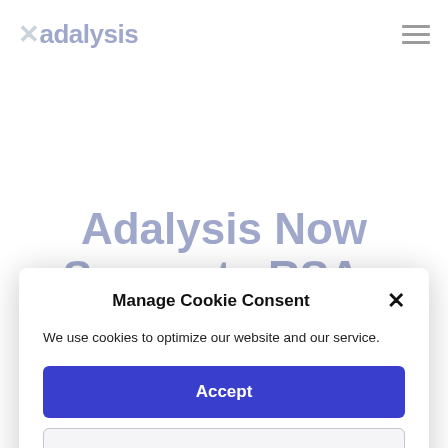Adalysis
Adalysis Now Supports RSAs
Manage Cookie Consent
We use cookies to optimize our website and our service.
Accept
Preferences
Cookie Policy   Privacy Policy